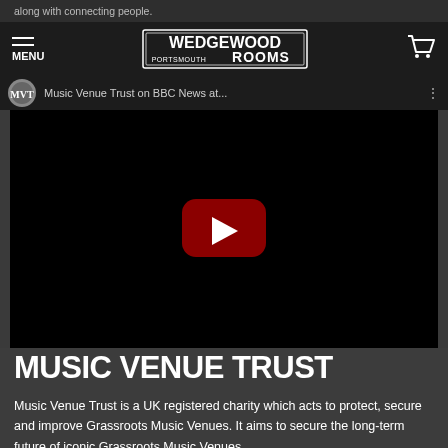along with connecting people.
MENU | WEDGEWOOD ROOMS PORTSMOUTH
[Figure (screenshot): YouTube video thumbnail for Music Venue Trust on BBC News at... — black background with YouTube play button (dark red rounded rectangle with white triangle) and a circular channel avatar in top left]
MUSIC VENUE TRUST
Music Venue Trust is a UK registered charity which acts to protect, secure and improve Grassroots Music Venues. It aims to secure the long-term future of iconic Grassroots Music Venues